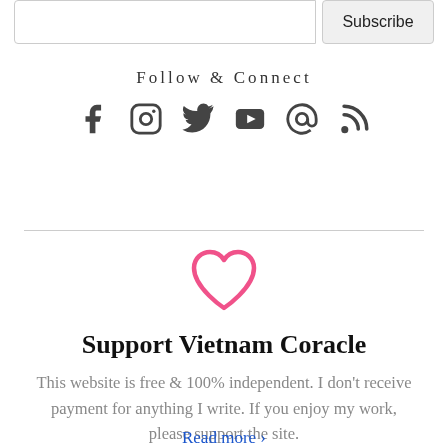[Figure (screenshot): Email subscribe input box and Subscribe button]
Follow & Connect
[Figure (infographic): Social media icons: Facebook, Instagram, Twitter, YouTube, Email, RSS]
[Figure (illustration): Pink heart outline icon]
Support Vietnam Coracle
This website is free & 100% independent. I don't receive payment for anything I write. If you enjoy my work, please support the site.
Read more ›